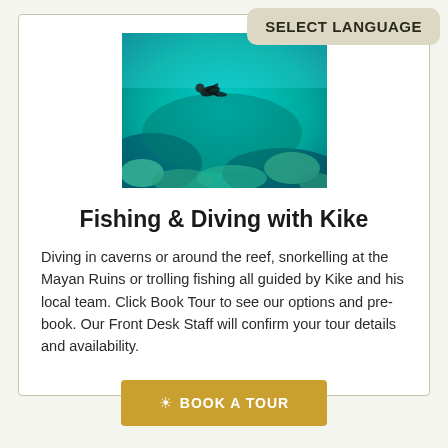SELECT LANGUAGE
[Figure (photo): Aerial or underwater view of a diver snorkelling over a coral reef with vivid blue and turquoise water]
Fishing & Diving with Kike
Diving in caverns or around the reef, snorkelling at the Mayan Ruins or trolling fishing all guided by Kike and his local team. Click Book Tour to see our options and pre-book. Our Front Desk Staff will confirm your tour details and availability.
☀ BOOK A TOUR